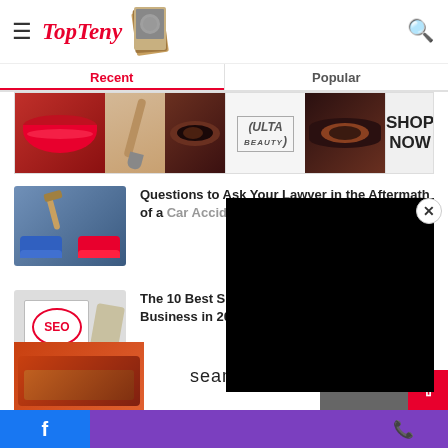TopTeny
Recent | Popular
[Figure (advertisement): ULTA Beauty advertisement banner with makeup images and SHOP NOW button]
[Figure (photo): Car accident image with toy cars and gavel]
Questions to Ask Your Lawyer in the Aftermath of a Car Accident
[Figure (photo): SEO concept image with hand-drawn SEO diagram]
The 10 Best SEO Companies for Small Business in 2022
[Figure (photo): Photographer man with camera]
The 40 TOP Photography Types That Everyone Must Know
[Figure (advertisement): Seamless food delivery advertisement with ORDER NOW button]
CLOSE | Facebook icon | Phone icon